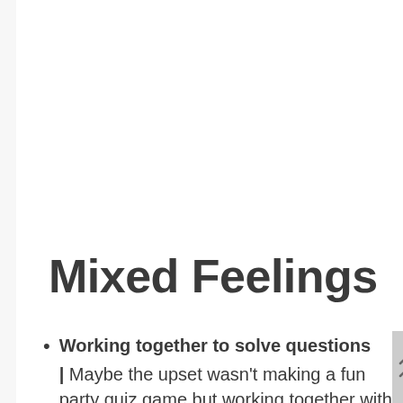Mixed Feelings
Working together to solve questions | Maybe the upset wasn't making a fun party quiz game but working together with